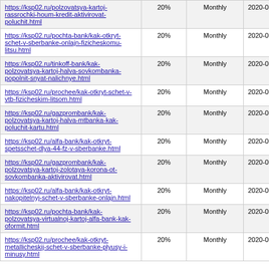| https://ksp02.ru/polzovatsya-kartoj-rassrochki-houm-kredit-aktivirovat-poluchit.html | 20% | Monthly | 2020-01-31 21:50 |
| https://ksp02.ru/pochta-bank/kak-otkryt-schet-v-sberbanke-onlajn-fizicheskomu-litsu.html | 20% | Monthly | 2020-01-31 21:50 |
| https://ksp02.ru/tinkoff-bank/kak-polzovatsya-kartoj-halva-sovkombanka-popolnit-snyat-nalichnye.html | 20% | Monthly | 2020-01-31 21:45 |
| https://ksp02.ru/prochee/kak-otkryt-schet-v-vtb-fizicheskim-litsom.html | 20% | Monthly | 2020-01-31 21:45 |
| https://ksp02.ru/gazprombank/kak-polzovatsya-kartoj-halva-mtbanka-kak-poluchit-kartu.html | 20% | Monthly | 2020-01-31 21:40 |
| https://ksp02.ru/alfa-bank/kak-otkryt-spetsschet-dlya-44-fz-v-sberbanke.html | 20% | Monthly | 2020-01-31 21:40 |
| https://ksp02.ru/gazprombank/kak-polzovatsya-kartoj-zolotaya-korona-ot-sovkombanka-aktivirovat.html | 20% | Monthly | 2020-01-31 21:35 |
| https://ksp02.ru/alfa-bank/kak-otkryt-nakopitelnyj-schet-v-sberbanke-onlajn.html | 20% | Monthly | 2020-01-31 21:35 |
| https://ksp02.ru/pochta-bank/kak-polzovatsya-virtualnoj-kartoj-alfa-bank-kak-oformit.html | 20% | Monthly | 2020-01-31 21:30 |
| https://ksp02.ru/prochee/kak-otkryt-metallicheskij-schet-v-sberbanke-plyusy-i-minusy.html | 20% | Monthly | 2020-01-31 21:30 |